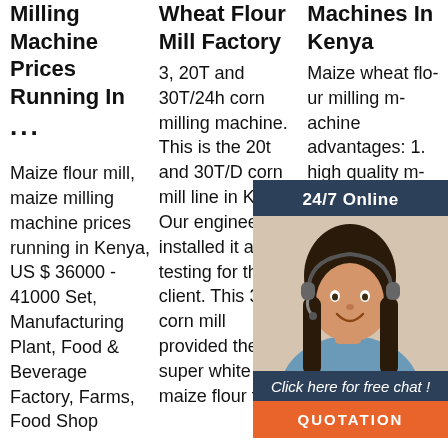Milling Machine Prices Running In
···
Maize flour mill, maize milling machine prices running in Kenya, US $ 36000 - 41000 Set, Manufacturing Plant, Food & Beverage Factory, Farms, Food Shop
Wheat Flour Mill Factory
3, 20T and 30T/24h corn milling machine. This is the 20t and 30T/D corn mill line in Kenya. Our engineer installed it and testing for the client. This 30T corn mill provided the super white maize flour to
Machines In Kenya
Maize wheat flour milling machine advantages: 1. high quality maize milling machine machinery machine machine machine experience 2 petitive price 3.Flour Milling machine Satisfied after
[Figure (photo): Customer service representative woman with headset, with 24/7 Online banner, Click here for free chat text, and QUOTATION orange button]